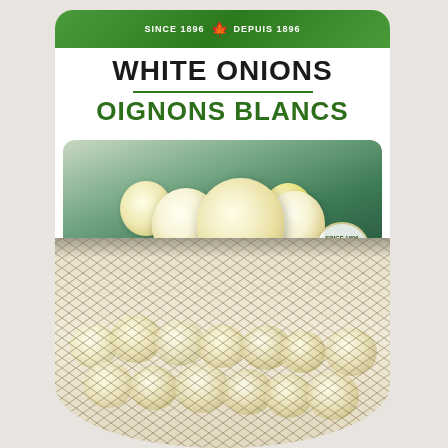[Figure (photo): Product photo of a bag of white onions (oignons blancs). The package has a green banner at top, product name 'WHITE ONIONS / OIGNONS BLANCS' in large bold text, a photo window showing several white onions on a dark surface, a green starburst badge showing '225g At time of filling / Au moment du remplissage', a circular since-1896 badge with maple leaf in bottom right of the window, and the bottom portion shows small white onions in a mesh net bag.]